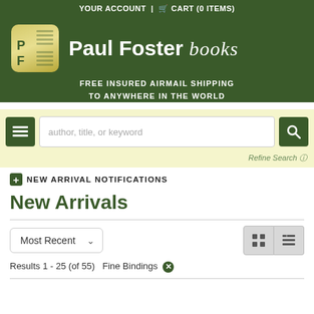YOUR ACCOUNT | CART (0 ITEMS)
[Figure (logo): Paul Foster Books logo with PF monogram icon and site name]
FREE INSURED AIRMAIL SHIPPING TO ANYWHERE IN THE WORLD
author, title, or keyword (search bar)
Refine Search
NEW ARRIVAL NOTIFICATIONS
New Arrivals
Most Recent
Results 1 - 25 (of 55)  Fine Bindings